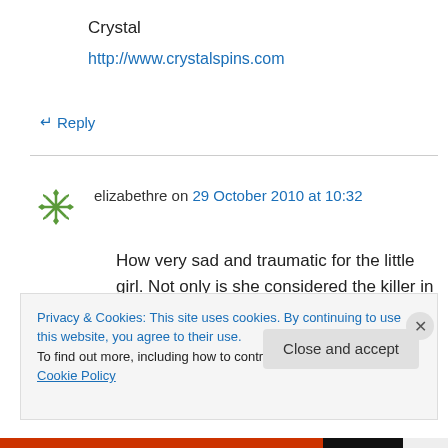Crystal
http://www.crystalspins.com
↵ Reply
elizabethre on 29 October 2010 at 10:32
How very sad and traumatic for the little girl. Not only is she considered the killer in the death of the old lady, but now she is facing a court trial. What on earth is this world coming to? Whoever
Privacy & Cookies: This site uses cookies. By continuing to use this website, you agree to their use.
To find out more, including how to control cookies, see here: Cookie Policy
Close and accept